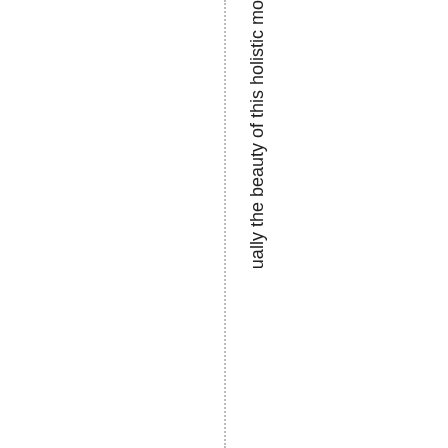ually the beauty of this holistic mo